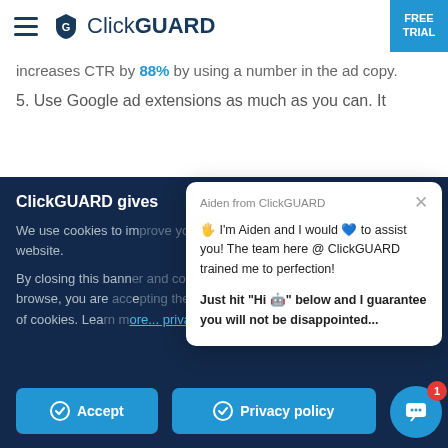[Figure (screenshot): ClickGUARD website navigation bar with hamburger menu icon, ClickGUARD logo, and FREE TRIAL button in top right corner]
increases CTR by 88% by using a number in the ad copy.
5. Use Google ad extensions as much as you can. It
ClickGUARD gives
We use cookies to improve your experience on our website.
By closing this banner and continue to browse, you are accepting the use of cookies. Learn more about our Privacy policy
[Figure (screenshot): Chat popup from Aiden from ClickGUARD assistant with message about assisting users and guarantee message. Contains close button X in top right.]
[Figure (screenshot): Bottom cookie consent bar with Accept and Privacy policy buttons, and chat widget bubble with notification badge showing 1]